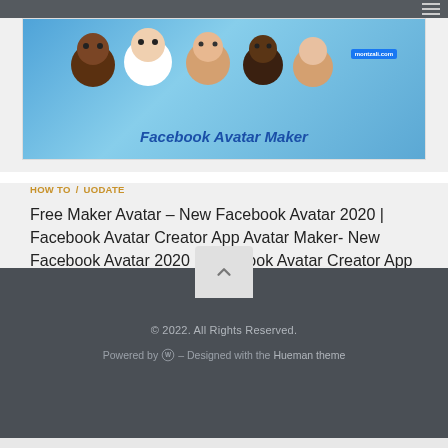[Figure (screenshot): Facebook Avatar Maker banner image with cartoon avatar faces on a blue background]
HOW TO / UODATE
Free Maker Avatar – New Facebook Avatar 2020 | Facebook Avatar Creator App Avatar Maker- New Facebook Avatar 2020 | Facebook Avatar Creator App
© 2022. All Rights Reserved. Powered by W - Designed with the Hueman theme